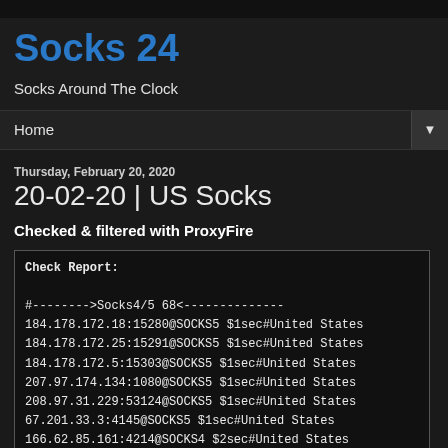Socks 24
Socks Around The Clock
Home
Thursday, February 20, 2020
20-02-20 | US Socks
Checked & filtered with ProxyFire
Check Report:

#-------->Socks4/5 68<--------------
184.178.172.18:15280@SOCKS5 $1sec#United States
184.178.172.25:15291@SOCKS5 $1sec#United States
184.178.172.5:15303@SOCKS5 $1sec#United States
207.97.174.134:1080@SOCKS5 $1sec#United States
208.97.31.229:53124@SOCKS5 $1sec#United States
67.201.33.3:4145@SOCKS5 $1sec#United States
166.62.85.161:4214@SOCKS4 $2sec#United States